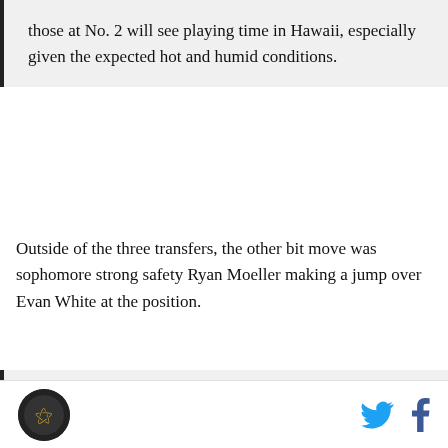those at No. 2 will see playing time in Hawaii, especially given the expected hot and humid conditions.
Outside of the three transfers, the other bit move was sophomore strong safety Ryan Moeller making a jump over Evan White at the position.
Meanwhile, there are still four positions still up in the air.
At left guard, it's Jonathan Huckins or Shane Callahan. At fullback, George Frazier and Jordan Murphy are in the top spot. And, both special teams spots are still open, with freshman Alex Kinney and